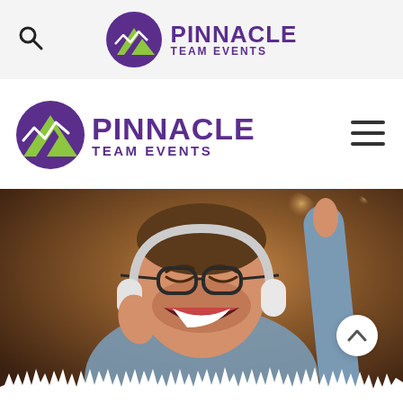[Figure (logo): Pinnacle Team Events logo in top navigation bar with search icon on left]
[Figure (logo): Pinnacle Team Events logo in mobile header with hamburger menu icon on right]
[Figure (photo): Man wearing headphones and glasses, eyes closed, laughing and dancing, with one hand raised, warm bokeh background; scroll-up button in lower right corner; jagged white waveform overlay at bottom]